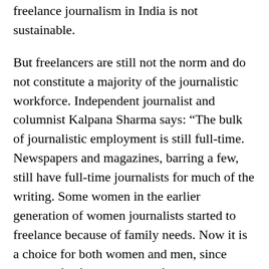freelance journalism in India is not sustainable.
But freelancers are still not the norm and do not constitute a majority of the journalistic workforce. Independent journalist and columnist Kalpana Sharma says: “The bulk of journalistic employment is still full-time. Newspapers and magazines, barring a few, still have full-time journalists for much of the writing. Some women in the earlier generation of women journalists started to freelance because of family needs. Now it is a choice for both women and men, since avenues for freelancing are far more and paysomewhat better.”
Nevertheless, she points out that journalists are feeling increasingly frustrated because of the diminishing freedom to cover issues from perspectives such as gender and development.